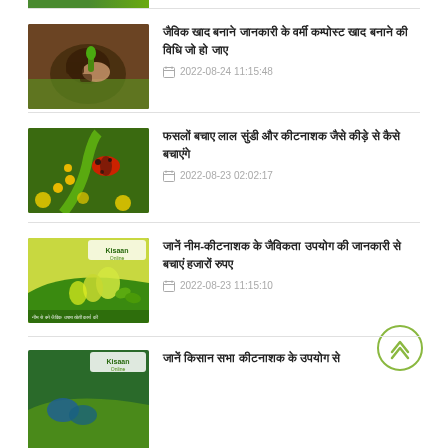[Figure (photo): Partial image of green agricultural scene at top]
जैविक खाद बनाने जानकारी के वर्मी कम्पोस्ट खाद बनाने की विधि जो हो जाए
2022-08-24 11:15:48
फसलों बचाए लाल सुंडी और कीटनाशक जैसे कीड़े से कैसे बचाएंगे
2022-08-23 02:02:17
जानें नीम-कीटनाशक के जैविकता उपयोग की जानकारी से बचाएं हजारों रुपए
2022-08-23 11:15:10
जानें किसान सभा कीटनाशक के उपयोग से